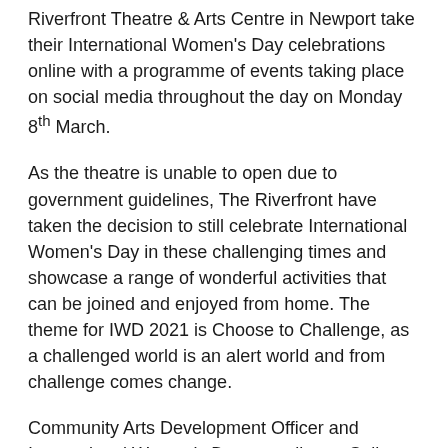Riverfront Theatre & Arts Centre in Newport take their International Women's Day celebrations online with a programme of events taking place on social media throughout the day on Monday 8th March.
As the theatre is unable to open due to government guidelines, The Riverfront have taken the decision to still celebrate International Women's Day in these challenging times and showcase a range of wonderful activities that can be joined and enjoyed from home. The theme for IWD 2021 is Choose to Challenge, as a challenged world is an alert world and from challenge comes change.
Community Arts Development Officer and International Women's Day co-ordinator Sally-Anne Evans comments 'It's fantastic to be working on International Women's Day again this year as it is always a great opportunity to come together and celebrate. This year we want to highlight the amazing creativity in our communities, and we are sharing our event virtually with some